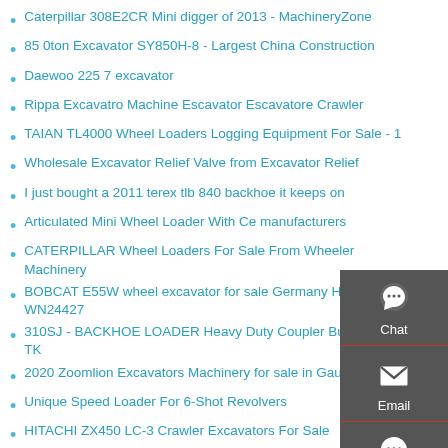Caterpillar 308E2CR Mini digger of 2013 - MachineryZone
85 0ton Excavator SY850H-8 - Largest China Construction
Daewoo 225 7 excavator
Rippa Excavatro Machine Escavator Escavatore Crawler
TAIAN TL4000 Wheel Loaders Logging Equipment For Sale - 1
Wholesale Excavator Relief Valve from Excavator Relief
I just bought a 2011 terex tlb 840 backhoe it keeps on
Articulated Mini Wheel Loader With Ce manufacturers
CATERPILLAR Wheel Loaders For Sale From Wheeler Machinery
BOBCAT E55W wheel excavator for sale Germany Hanau WN24427
310SJ - BACKHOE LOADER Heavy Duty Coupler Bucket with TK
2020 Zoomlion Excavators Machinery for sale in Gauteng from
Unique Speed Loader For 6-Shot Revolvers
HITACHI ZX450 LC-3 Crawler Excavators For Sale
Payloader Hire Specialists Durban Phone 031 465 3
[Figure (infographic): Dark grey sidebar panel with Chat (speech bubble icon), Email (envelope icon), and Contact (speech dots icon) buttons stacked vertically, each separated by a red line.]